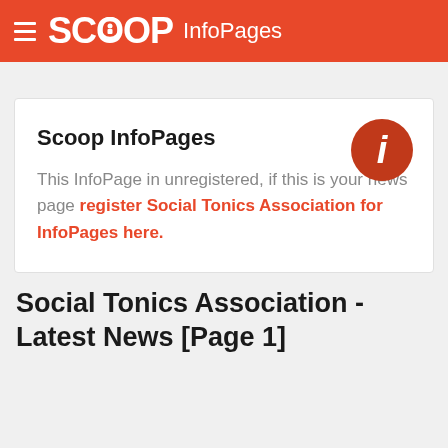SCOOP InfoPages
Scoop InfoPages
This InfoPage in unregistered, if this is your news page register Social Tonics Association for InfoPages here.
Social Tonics Association - Latest News [Page 1]